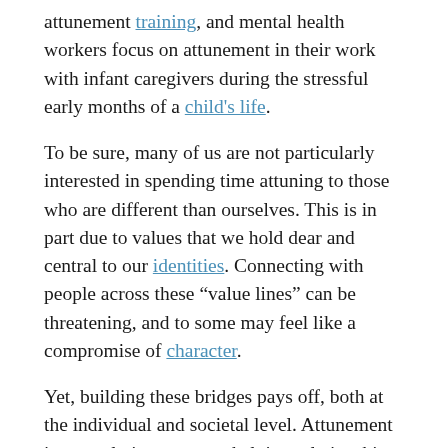attunement training, and mental health workers focus on attunement in their work with infant caregivers during the stressful early months of a child's life.
To be sure, many of us are not particularly interested in spending time attuning to those who are different than ourselves. This is in part due to values that we hold dear and central to our identities. Connecting with people across these "value lines" can be threatening, and to some may feel like a compromise of character.
Yet, building these bridges pays off, both at the individual and societal level. Attunement is not only important to helping relationships; it is also critical to public discourse and well-being. Connecting with people of difference can help build empathy and understanding, which is associated with increased happiness and well-being.